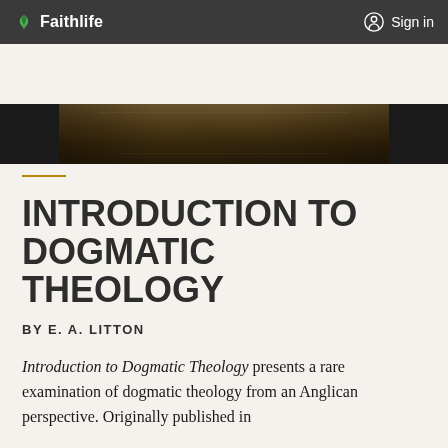Faithlife  Sign in
LEXHAM PRESS
[Figure (photo): Partial view of book cover for Introduction to Dogmatic Theology — dark brown/olive painted background]
INTRODUCTION TO DOGMATIC THEOLOGY
BY E. A. LITTON
Introduction to Dogmatic Theology presents a rare examination of dogmatic theology from an Anglican perspective. Originally published in